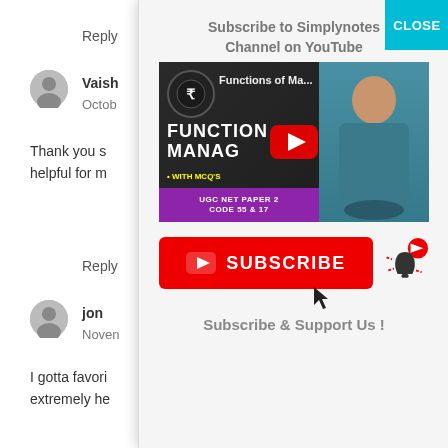Reply
Vaisha
Octobe
Thank you s
helpful for m
Reply
jon
Noven
I gotta favori
extremely he
[Figure (screenshot): Modal popup with YouTube video thumbnail showing 'Functions of Ma...' video, a Subscribe button, and 'Subscribe & Support Us!' text. Has a CLOSE button in teal top right corner.]